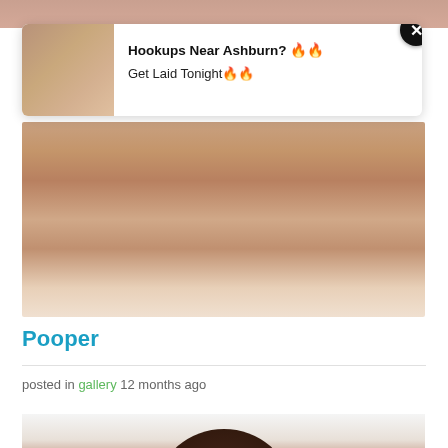[Figure (photo): Partial image at top of page, skin tones visible]
[Figure (photo): Advertisement card overlay with thumbnail image on left]
Hookups Near Ashburn? 🔥🔥
Get Laid Tonight🔥🔥
[Figure (photo): Main content image, close-up photo]
Pooper
posted in gallery 12 months ago
[Figure (photo): Bottom partial image showing person with dark brown hair]